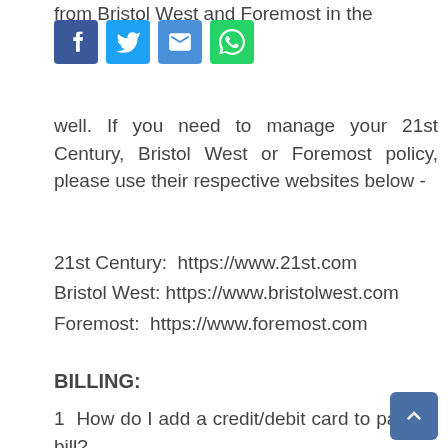from Bristol West and Foremost in the
[Figure (other): Social media sharing buttons: Facebook (blue), Twitter (light blue), Email (blue), WhatsApp (green)]
well. If you need to manage your 21st Century, Bristol West or Foremost policy, please use their respective websites below -
21st Century:  https://www.21st.com
Bristol West: https://www.bristolwest.com
Foremost:  https://www.foremost.com
BILLING:
1  How do I add a credit/debit card to pay my bill?
From the Main Menu: